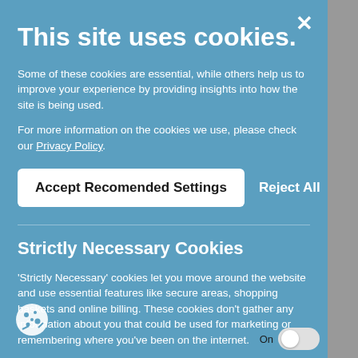This site uses cookies.
Some of these cookies are essential, while others help us to improve your experience by providing insights into how the site is being used.
For more information on the cookies we use, please check our Privacy Policy.
Accept Recomended Settings
Reject All
Strictly Necessary Cookies
'Strictly Necessary' cookies let you move around the website and use essential features like secure areas, shopping baskets and online billing. These cookies don't gather any information about you that could be used for marketing or remembering where you've been on the internet.